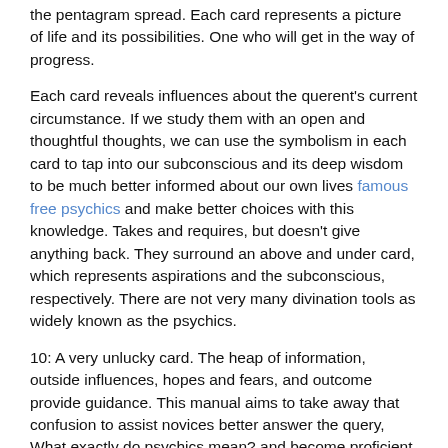the pentagram spread. Each card represents a picture of life and its possibilities. One who will get in the way of progress.
Each card reveals influences about the querent's current circumstance. If we study them with an open and thoughtful thoughts, we can use the symbolism in each card to tap into our subconscious and its deep wisdom to be much better informed about our own lives famous free psychics and make better choices with this knowledge. Takes and requires, but doesn't give anything back. They surround an above and under card, which represents aspirations and the subconscious, respectively. There are not very many divination tools as widely known as the psychics.
10: A very unlucky card. The heap of information, outside influences, hopes and fears, and outcome provide guidance. This manual aims to take away that confusion to assist novices better answer the query, What exactly do psychics mean? and become proficient in utilizing them as an instrument to improve their own lives. If near a fantastic card, it may cancel out it. They give recommendations and emphasize the energies or events that help determine the outcome.